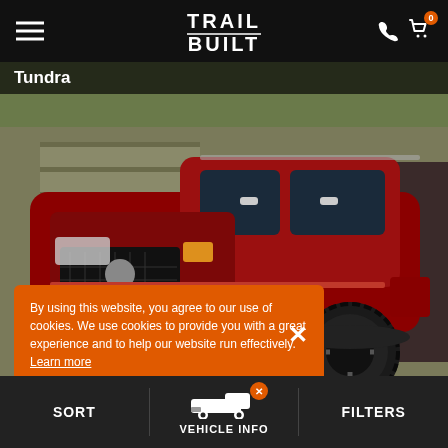TRAIL BUILT
Tundra
[Figure (photo): Red Toyota Tundra truck with black wheels and lift kit, parked in front of a garage]
By using this website, you agree to our use of cookies. We use cookies to provide you with a great experience and to help our website run effectively. Learn more
Hostile Omega
20x10 -19mm
SORT   VEHICLE INFO   FILTERS